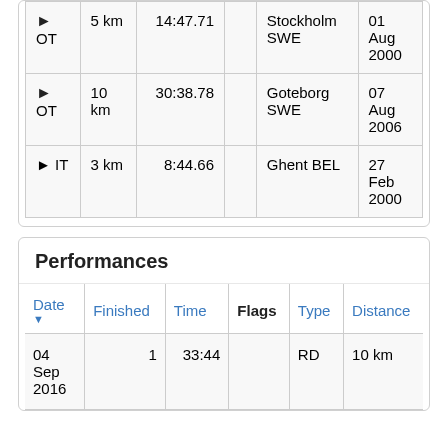|  | Distance | Time |  | Location | Date |
| --- | --- | --- | --- | --- | --- |
| ➤ OT | 5 km | 14:47.71 |  | Stockholm SWE | 01 Aug 2000 |
| ➤ OT | 10 km | 30:38.78 |  | Goteborg SWE | 07 Aug 2006 |
| ➤ IT | 3 km | 8:44.66 |  | Ghent BEL | 27 Feb 2000 |
Performances
| Date ▼ | Finished | Time | Flags | Type | Distance |
| --- | --- | --- | --- | --- | --- |
| 04 Sep 2016 | 1 | 33:44 |  | RD | 10 km |